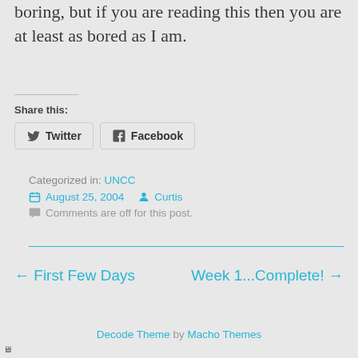boring, but if you are reading this then you are at least as bored as I am.
Share this:
[Figure (other): Twitter and Facebook social share buttons]
Categorized in: UNCC
August 25, 2004  Curtis
Comments are off for this post.
← First Few Days
Week 1...Complete! →
Decode Theme by Macho Themes